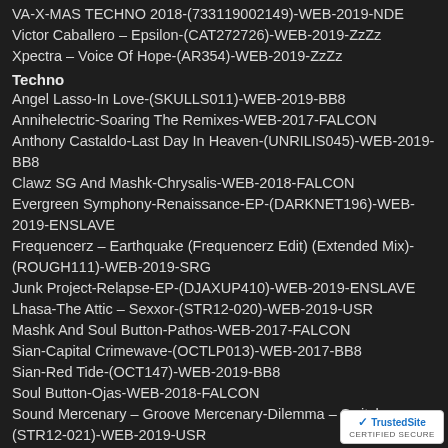VA-X-MAS TECHNO 2018-(733119002149)-WEB-2019-NDE
Victor Caballero – Epsilon-(CAT272726)-WEB-2019-ZzZz
Xpectra – Voice Of Hope-(AR354)-WEB-2019-ZzZz
Techno
Angel Lasso-In Love-(SKULLS011)-WEB-2019-BB8
Annihelectric-Soaring The Remixes-WEB-2017-FALCON
Anthony Castaldo-Last Day In Heaven-(UNRILIS045)-WEB-2019-BB8
Clawz SG And Mashk-Chrysalis-WEB-2018-FALCON
Evergreen Symphony-Renaissance-EP-(DARKNET196)-WEB-2019-ENSLAVE
Frequencerz – Earthquake (Frequencerz Edit) (Extended Mix)-(ROUGH111)-WEB-2019-SRG
Junk Project-Relapse-EP-(DJAXUP410)-WEB-2019-ENSLAVE
Lhasa-The Attic – Sexxor-(STR12-020)-WEB-2019-USR
Mashk And Soul Button-Pathos-WEB-2017-FALCON
Sian-Capital Crimewave-(OCTLP013)-WEB-2017-BB8
Sian-Red Tide-(OCT147)-WEB-2019-BB8
Soul Button-Ojas-WEB-2018-FALCON
Sound Mercenary – Groove Mercenary-Dilemma – Switch-(STR12-021)-WEB-2019-USR
Tenderheart-Divinity-WEB-2018-FALCON
Tension (Ger)-Currents-(BESURE017)-WEB-2019-NDE
Tension-Currents-(BESURE017)-WEB-2019-ENSLAVE iNT